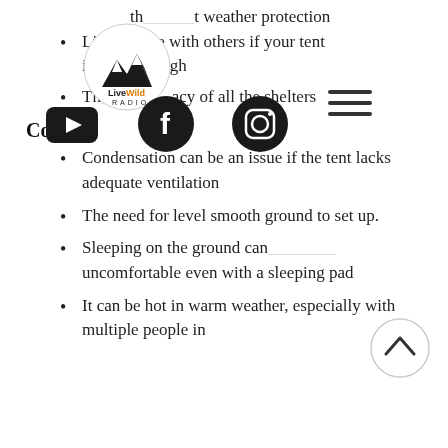th_t weather protection
Live_Wild_ e with others if your tent is ____enough
Th_ost_acy of all the shelters
Cons
Condensation can be an issue if the tent lacks adequate ventilation
The need for level smooth ground to set up.
Sleeping on the ground can be uncomfortable even with a sleeping pad
It can be hot in warm weather, especially with multiple people in